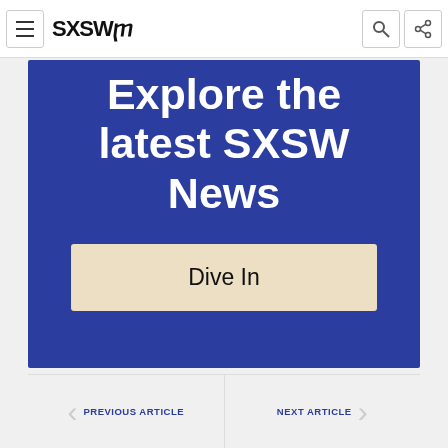SXSW logo with hamburger menu, search and share icons
Explore the latest SXSW News
Dive In
PREVIOUS ARTICLE
NEXT ARTICLE